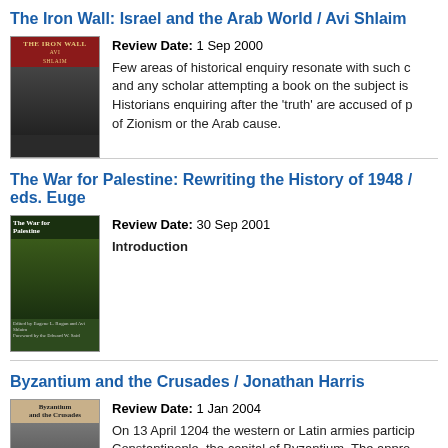The Iron Wall: Israel and the Arab World / Avi Shlaim
[Figure (photo): Book cover of The Iron Wall by Avi Shlaim, dark cover with military imagery]
Review Date: 1 Sep 2000
Few areas of historical enquiry resonate with such c... and any scholar attempting a book on the subject is... Historians enquiring after the 'truth' are accused of p... of Zionism or the Arab cause.
The War for Palestine: Rewriting the History of 1948 / eds. Euge...
[Figure (photo): Book cover of The War for Palestine, green cover with battle imagery]
Review Date: 30 Sep 2001
Introduction
Byzantium and the Crusades / Jonathan Harris
[Figure (photo): Book cover of Byzantium and the Crusades by Jonathan Harris]
Review Date: 1 Jan 2004
On 13 April 1204 the western or Latin armies particip... Constantinople, the capital of Byzantium. The appro...